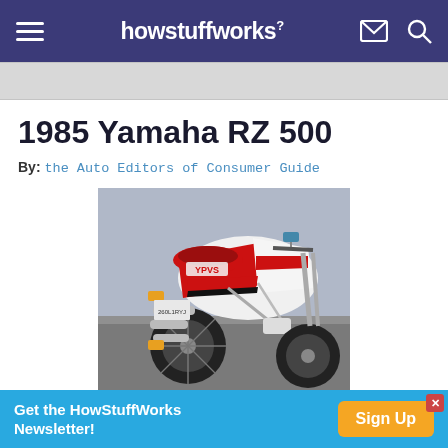howstuffworks
1985 Yamaha RZ 500
By: the Auto Editors of Consumer Guide
[Figure (photo): Photo of a 1985 Yamaha RZ 500 motorcycle, red and white fairing, viewed from rear-left angle on a road]
Get the HowStuffWorks Newsletter! Sign Up